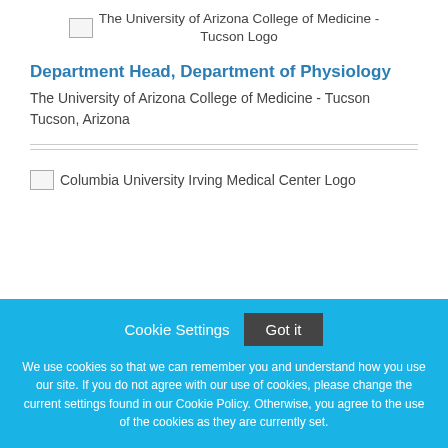[Figure (logo): The University of Arizona College of Medicine - Tucson Logo with image placeholder icon]
Department Head, Department of Physiology
The University of Arizona College of Medicine - Tucson
Tucson, Arizona
[Figure (logo): Columbia University Irving Medical Center Logo with image placeholder icon]
Cookie Settings  Got it
We use cookies so that we can remember you and understand how you use our site. If you do not agree with our use of cookies, please change the current settings found in our Cookie Policy. Otherwise, you agree to the use of the cookies as they are currently set.